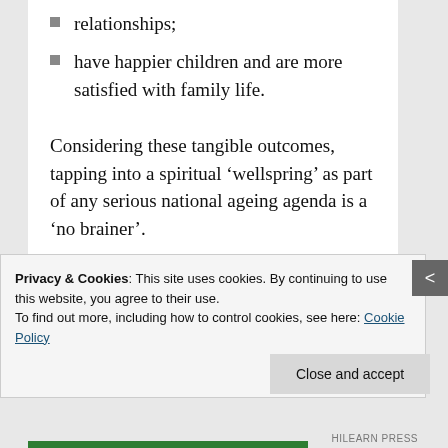relationships;
have happier children and are more satisfied with family life.
Considering these tangible outcomes, tapping into a spiritual ‘wellspring’ as part of any serious national ageing agenda is a ‘no brainer’.
This is certainly our view, based on our work and experience. So, why are we not embracing the opportunity as
Privacy & Cookies: This site uses cookies. By continuing to use this website, you agree to their use.
To find out more, including how to control cookies, see here: Cookie Policy